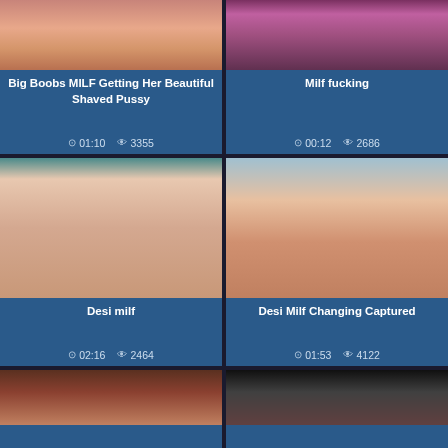[Figure (screenshot): Video thumbnail top left - flesh/pink tones]
Big Boobs MILF Getting Her Beautiful Shaved Pussy
01:10  3355
[Figure (screenshot): Video thumbnail top right - purple/magenta tones]
Milf fucking
00:12  2686
[Figure (screenshot): Video thumbnail middle left - teal background with repeating figure]
Desi milf
02:16  2464
[Figure (screenshot): Video thumbnail middle right - woman in room]
Desi Milf Changing Captured
01:53  4122
[Figure (screenshot): Video thumbnail bottom left - dark reddish tones]
[Figure (screenshot): Video thumbnail bottom right - very dark tones]